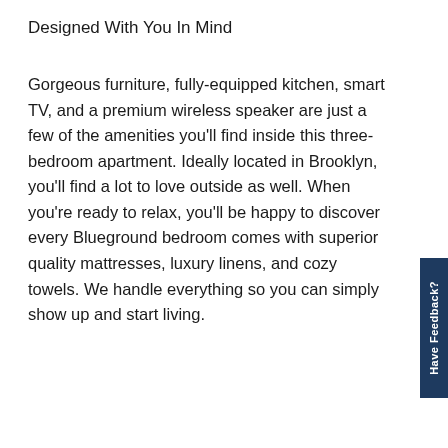Designed With You In Mind
Gorgeous furniture, fully-equipped kitchen, smart TV, and a premium wireless speaker are just a few of the amenities you'll find inside this three-bedroom apartment. Ideally located in Brooklyn, you'll find a lot to love outside as well. When you're ready to relax, you'll be happy to discover every Blueground bedroom comes with superior quality mattresses, luxury linens, and cozy towels. We handle everything so you can simply show up and start living.